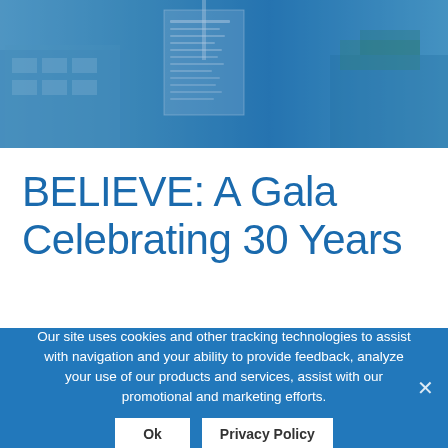[Figure (photo): Exterior photo of a building/campus with a sign board visible, rendered with blue tinted overlay]
BELIEVE: A Gala Celebrating 30 Years
Our site uses cookies and other tracking technologies to assist with navigation and your ability to provide feedback, analyze your use of our products and services, assist with our promotional and marketing efforts.
Ok   Privacy Policy